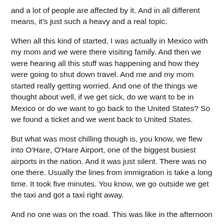and a lot of people are affected by it. And in all different means, it's just such a heavy and a real topic.
When all this kind of started, I was actually in Mexico with my mom and we were there visiting family. And then we were hearing all this stuff was happening and how they were going to shut down travel. And me and my mom started really getting worried. And one of the things we thought about well, if we get sick, do we want to be in Mexico or do we want to go back to the United States? So we found a ticket and we went back to United States.
But what was most chilling though is, you know, we flew into O'Hare, O'Hare Airport, one of the biggest busiest airports in the nation. And it was just silent. There was no one there. Usually the lines from immigration is take a long time. It took five minutes. You know, we go outside we get the taxi and got a taxi right away.
And no one was on the road. This was like in the afternoon